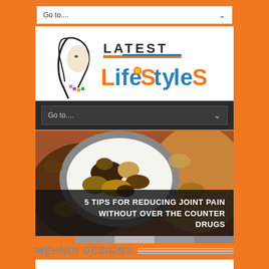Go to....
[Figure (logo): Latest Lifestyles logo — stylized woman silhouette with colorful text 'Latest Lifestyles']
Go to....
[Figure (photo): Close-up photo of a bowl of mixed nuts, dried fruits and other foods on a wooden background]
5 TIPS FOR REDUCING JOINT PAIN WITHOUT OVER THE COUNTER DRUGS
MEHNDI DESIGNS